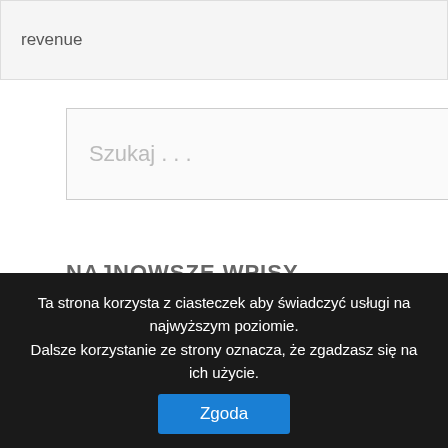| revenue |  |
| --- | --- |
Szukaj . . .
NAJNOWSZE WPISY
Teaching critical thinking in medical education
Ap world history causation essay prompts
Portfolio
Ta strona korzysta z ciasteczek aby świadczyć usługi na najwyższym poziomie. Dalsze korzystanie ze strony oznacza, że zgadzasz się na ich użycie.
Zgoda